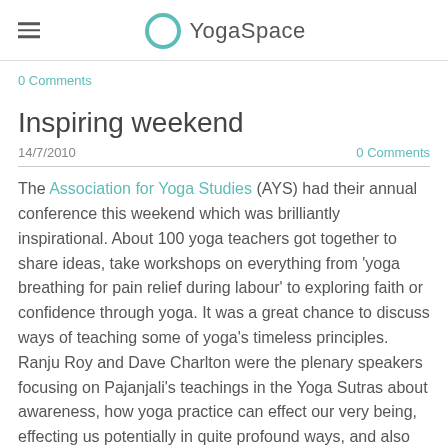YogaSpace
0 Comments
Inspiring weekend
14/7/2010    0 Comments
The Association for Yoga Studies (AYS) had their annual conference this weekend which was brilliantly inspirational. About 100 yoga teachers got together to share ideas, take workshops on everything from 'yoga breathing for pain relief during labour' to exploring faith or confidence through yoga. It was a great chance to discuss ways of teaching some of yoga's timeless principles. Ranju Roy and Dave Charlton were the plenary speakers focusing on Pajanjali's teachings in the Yoga Sutras about awareness, how yoga practice can effect our very being, effecting us potentially in quite profound ways, and also exploring how we see